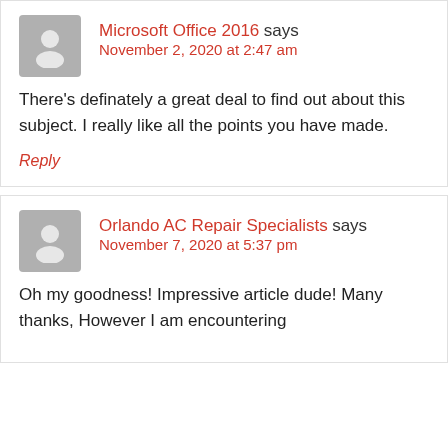Microsoft Office 2016 says
November 2, 2020 at 2:47 am
There's definately a great deal to find out about this subject. I really like all the points you have made.
Reply
Orlando AC Repair Specialists says
November 7, 2020 at 5:37 pm
Oh my goodness! Impressive article dude! Many thanks, However I am encountering